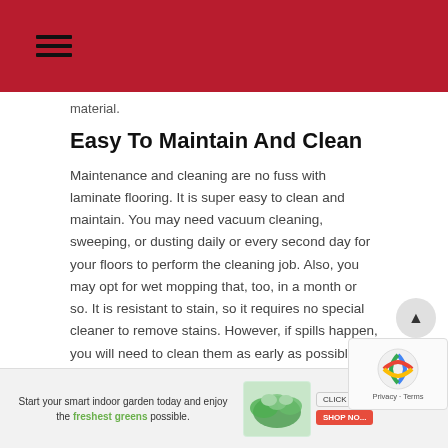material.
Easy To Maintain And Clean
Maintenance and cleaning are no fuss with laminate flooring. It is super easy to clean and maintain. You may need vacuum cleaning, sweeping, or dusting daily or every second day for your floors to perform the cleaning job. Also, you may opt for wet mopping that, too, in a month or so. It is resistant to stain, so it requires no special cleaner to remove stains. However, if spills happen, you will need to clean them as early as possible.
[Figure (infographic): Advertisement banner: Start your smart indoor garden today and enjoy the freshest greens possible. With image of green plants and CLICK/GROW SHOP NOW button.]